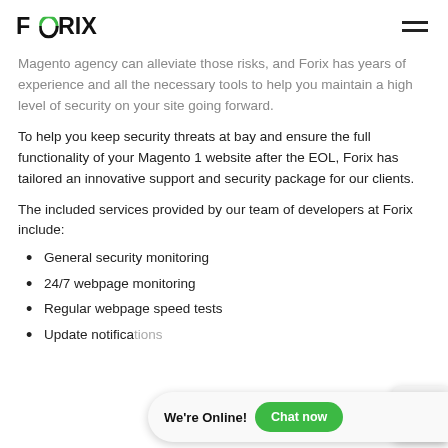FORIX
Magento agency can alleviate those risks, and Forix has years of experience and all the necessary tools to help you maintain a high level of security on your site going forward.
To help you keep security threats at bay and ensure the full functionality of your Magento 1 website after the EOL, Forix has tailored an innovative support and security package for our clients.
The included services provided by our team of developers at Forix include:
General security monitoring
24/7 webpage monitoring
Regular webpage speed tests
Update notifications